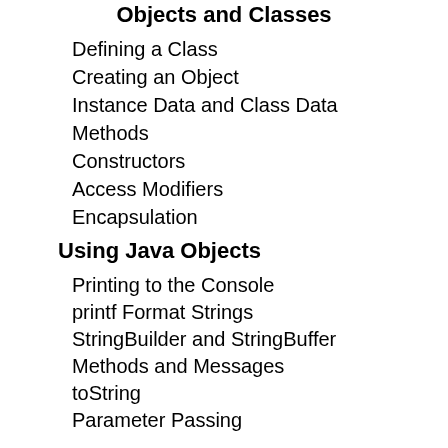Objects and Classes
Defining a Class
Creating an Object
Instance Data and Class Data
Methods
Constructors
Access Modifiers
Encapsulation
Using Java Objects
Printing to the Console
printf Format Strings
StringBuilder and StringBuffer
Methods and Messages
toString
Parameter Passing
Comparing and Identifying Objects
Destroying Objects
Using the Primitive-Type Wrapper Classes
Autoboxing